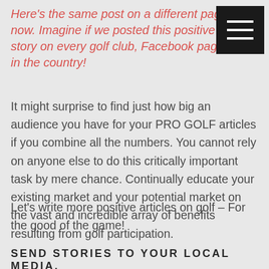Here's the same post on a different page now. Imagine if we posted this positive story on every golf club, Facebook page in the country!
[Figure (other): Hamburger menu icon — three white horizontal lines on a black square background]
It might surprise to find just how big an audience you have for your PRO GOLF articles if you combine all the numbers. You cannot rely on anyone else to do this critically important task by mere chance. Continually educate your existing market and your potential market on the vast and incredible array of benefits resulting from golf participation.
Let's write more positive articles on golf – For the good of the game!
SEND STORIES TO YOUR LOCAL MEDIA.